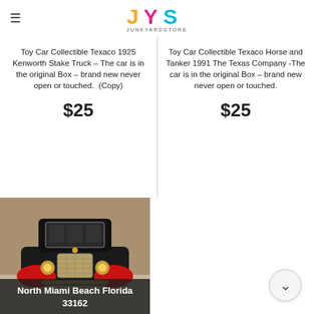JYS JUNKYARDSTORE
Toy Car Collectible Texaco 1925 Kenworth Stake Truck – The car is in the original Box – brand new never open or touched.  (Copy)
$25
Toy Car Collectible Texaco Horse and Tanker 1991 The Texas Company -The car is in the original Box – brand new never open or touched.
$25
[Figure (photo): Close-up photo of a toy collectible antique car, black and red, viewed from the front, on a countertop]
North Miami Beach Florida
33162